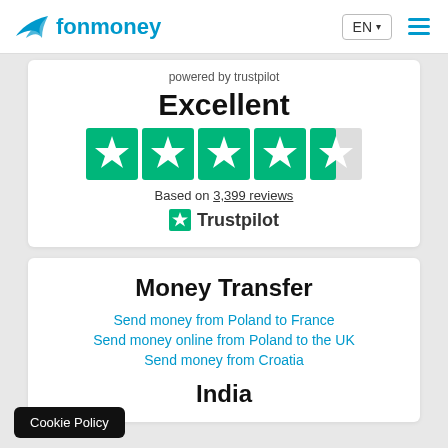fonmoney · EN · menu
powered by trustpilot
Excellent
[Figure (other): 4.5 out of 5 stars Trustpilot rating — five star icons, four fully green and one half green]
Based on 3,399 reviews
Trustpilot
Money Transfer
Send money from Poland to France
Send money online from Poland to the UK
Send money from Croatia
India
Cookie Policy